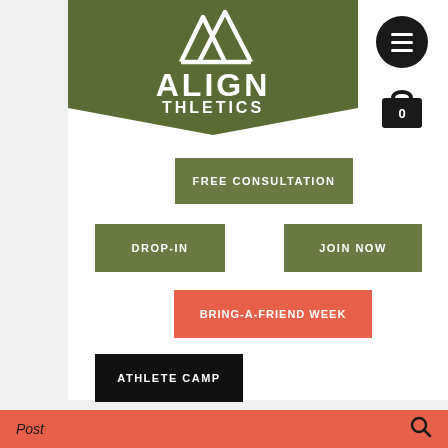[Figure (logo): Align Athletics logo: green pentagon/shield banner with white mountain/triangle graphic and ALIGN ATHLETICS text]
FREE CONSULTATION
DROP-IN
JOIN NOW
BRING-A-FRIEND WEEK
ATHLETE CAMP
Post